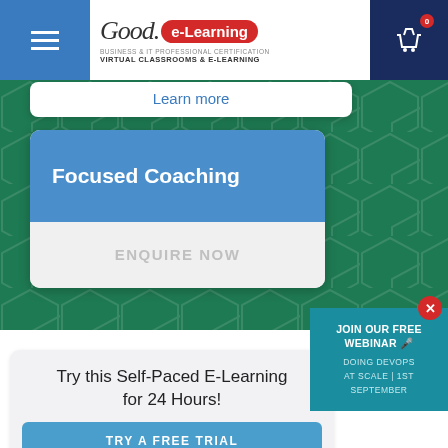[Figure (screenshot): Good e-Learning website header with logo, hamburger menu, and shopping basket with badge showing 0]
Learn more
Focused Coaching
ENQUIRE NOW
Try this Self-Paced E-Learning for 24 Hours!
TRY A FREE TRIAL
JOIN OUR FREE WEBINAR 🎤
DOING DEVOPS AT SCALE | 1ST SEPTEMBER